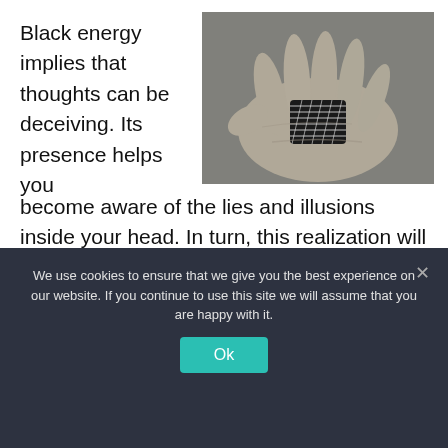Black energy implies that thoughts can be deceiving. Its presence helps you become aware of the lies and illusions inside your head. In turn, this realization will guide you back to your true spiritual path.
[Figure (photo): Black and white photo of a hand holding a black crystal or obsidian stone wrapped with white thread, with a blurred natural background.]
The black chakra works by eradicating excess
We use cookies to ensure that we give you the best experience on our website. If you continue to use this site we will assume that you are happy with it.
Ok